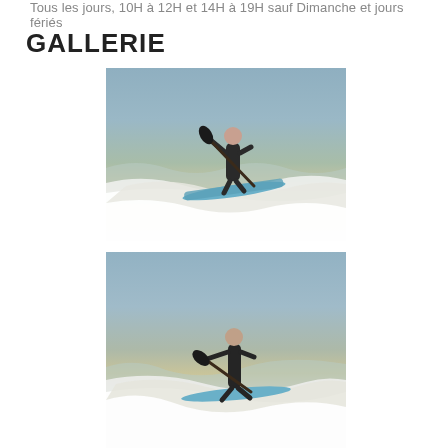Tous les jours, 10H à 12H et 14H à 19H sauf Dimanche et jours fériés
GALLERIE
[Figure (photo): A person in a black wetsuit stand-up paddleboarding on a wave, holding a paddle, riding on a blue SUP board.]
[Figure (photo): A person in a black wetsuit stand-up paddleboarding on a wave, holding a paddle low, riding on a blue SUP board.]